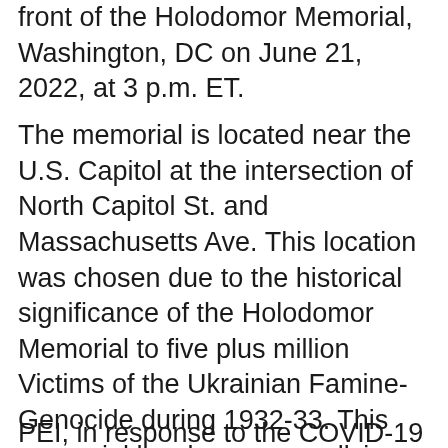front of the Holodomor Memorial, Washington, DC on June 21, 2022, at 3 p.m. ET.
The memorial is located near the U.S. Capitol at the intersection of North Capitol St. and Massachusetts Ave. This location was chosen due to the historical significance of the Holodomor Memorial to five plus million Victims of the Ukrainian Famine-Genocide during 1932-33. This memorial has become a rallying point for US-Ukraine popular opposition against the Russian/Ukraine war. PEI's PODs can be a game changer for humanitarian assistance and disaster relief, reaching large numbers of people in a short amount of time.
PEI, in response to the COVID-19 Pandemic…